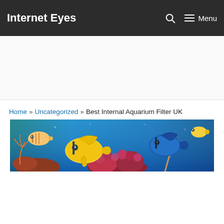Internet Eyes — Menu
Home » Uncategorized » Best Internal Aquarium Filter UK
[Figure (photo): Colorful aquarium scene with tropical fish including a bright yellow tang fish, blue tang, and various coral formations in a blue-lit tank]
Advertisement area (blank)